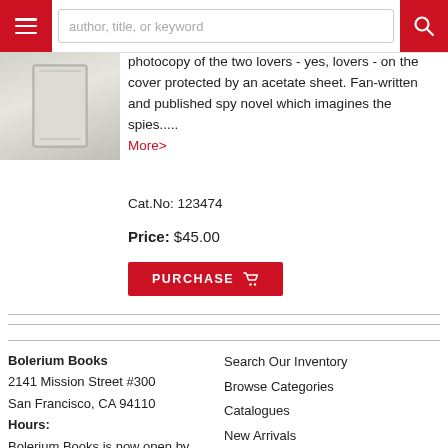author, title, or keyword
[Figure (photo): Book cover image partially visible]
photocopy of the two lovers - yes, lovers - on the cover protected by an acetate sheet. Fan-written and published spy novel which imagines the spies..... More>
Cat.No: 123474
Price: $45.00
PURCHASE
Bolerium Books
2141 Mission Street #300
San Francisco, CA 94110
Hours:
Bolerium Books is now open by
Search Our Inventory
Browse Categories
Catalogues
New Arrivals
Building Collections